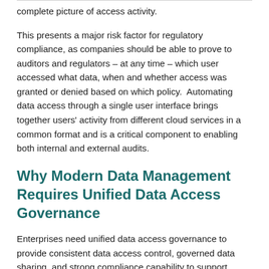complete picture of access activity.
This presents a major risk factor for regulatory compliance, as companies should be able to prove to auditors and regulators – at any time – which user accessed what data, when and whether access was granted or denied based on which policy.  Automating data access through a single user interface brings together users' activity from different cloud services in a common format and is a critical component to enabling both internal and external audits.
Why Modern Data Management Requires Unified Data Access Governance
Enterprises need unified data access governance to provide consistent data access control, governed data sharing, and strong compliance capability to support today's modern data management landscape that is spread across multiple cloud services. With fine